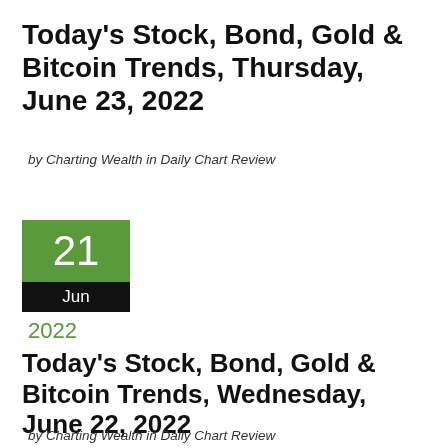Today's Stock, Bond, Gold & Bitcoin Trends, Thursday, June 23, 2022
by Charting Wealth in Daily Chart Review
[Figure (other): Calendar icon showing day 21, month Jun, year 2022 with green top section and black bottom section]
Today's Stock, Bond, Gold & Bitcoin Trends, Wednesday, June 22, 2022
by Charting Wealth in Daily Chart Review